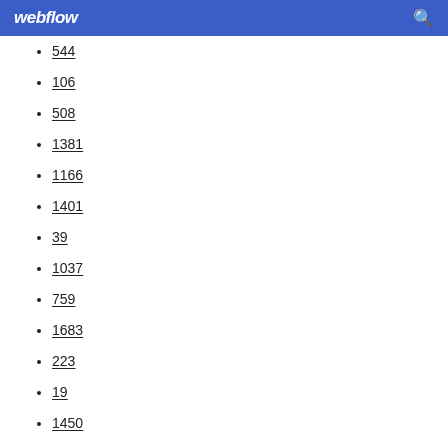webflow
544
106
508
1381
1166
1401
39
1037
759
1683
223
19
1450